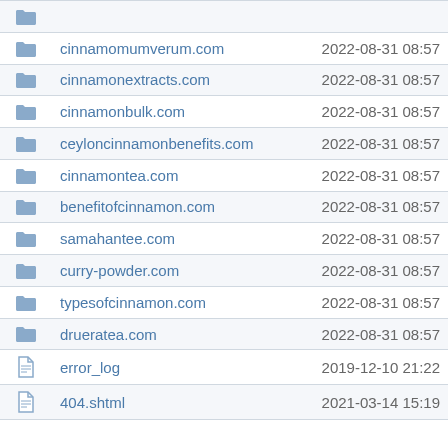|  | Name | Date |
| --- | --- | --- |
| folder | cinnamomumverum.com | 2022-08-31 08:57 |
| folder | cinnamonextracts.com | 2022-08-31 08:57 |
| folder | cinnamonbulk.com | 2022-08-31 08:57 |
| folder | ceyloncinnamonbenefits.com | 2022-08-31 08:57 |
| folder | cinnamontea.com | 2022-08-31 08:57 |
| folder | benefitofcinnamon.com | 2022-08-31 08:57 |
| folder | samahantee.com | 2022-08-31 08:57 |
| folder | curry-powder.com | 2022-08-31 08:57 |
| folder | typesofcinnamon.com | 2022-08-31 08:57 |
| folder | drueratea.com | 2022-08-31 08:57 |
| file | error_log | 2019-12-10 21:22 |
| file | 404.shtml | 2021-03-14 15:19 |